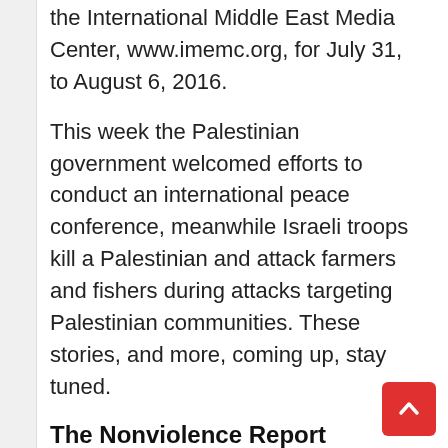the International Middle East Media Center, www.imemc.org, for July 31, to August 6, 2016.
This week the Palestinian government welcomed efforts to conduct an international peace conference, meanwhile Israeli troops kill a Palestinian and attack farmers and fishers during attacks targeting Palestinian communities. These stories, and more, coming up, stay tuned.
The Nonviolence Report
Let's begin our weekly report as usual with the nonviolent activities organized in the West Bank. In Kufer Kadum in northern West Bank many residents were treated for the effects of tear gas inhalation as Israeli troops attacked